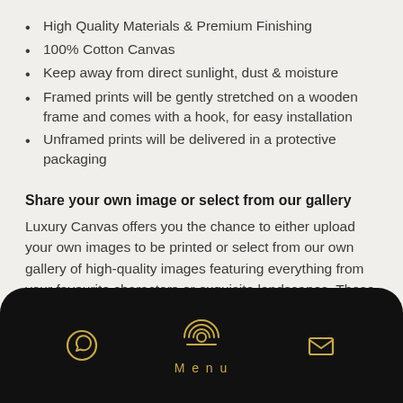High Quality Materials & Premium Finishing
100% Cotton Canvas
Keep away from direct sunlight, dust & moisture
Framed prints will be gently stretched on a wooden frame and comes with a hook, for easy installation
Unframed prints will be delivered in a protective packaging
Share your own image or select from our gallery
Luxury Canvas offers you the chance to either upload your own images to be printed or select from our own gallery of high-quality images featuring everything from your favourite characters or exquisite landscapes. These canvas prints become the perfect customized gifts for anyone in your life from a life partner to a business partner.
Disclaimer: Product images shown are for reference